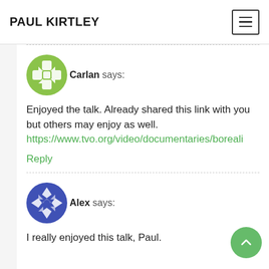PAUL KIRTLEY
Carlan says:
Enjoyed the talk. Already shared this link with you but others may enjoy as well.
https://www.tvo.org/video/documentaries/boreali
Reply
Alex says:
I really enjoyed this talk, Paul.